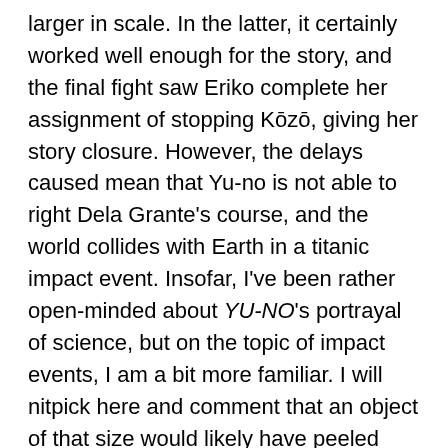larger in scale. In the latter, it certainly worked well enough for the story, and the final fight saw Eriko complete her assignment of stopping Kōzō, giving her story closure. However, the delays caused mean that Yu-no is not able to right Dela Grante's course, and the world collides with Earth in a titanic impact event. Insofar, I've been rather open-minded about YU-NO's portrayal of science, but on the topic of impact events, I am a bit more familiar. I will nitpick here and comment that an object of that size would likely have peeled back the Earth's crust and rendered the entire surface uninhabitable for millions of years; even though the impact was supposed to have happened eight thousand years earlier, at that magnitude, it is unlikely the world could've recovered that quickly. This, however, can be forgiven: as it turns out, the impact event is how Dela Grante's constructs ended up on Earth, and why Psychite is